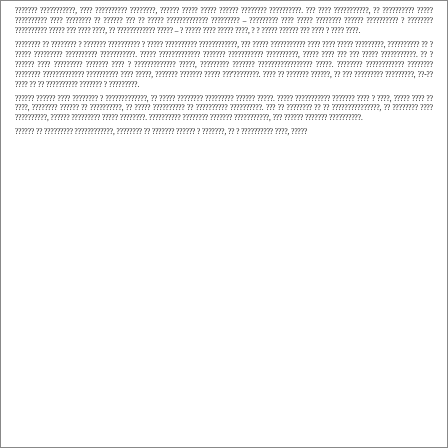??????? ???????????, ???? ?????????? ????????, ?????? ????? ????? ?????? ???????? ??????????. ??? ???? ???????????, ?? ?????????? ????? ?????????? ???? ???????? ?? ?????? ??? ?? ????? ????????????? ????????? – ????????? ???? ????? ???????? ?????? ?????????? ? ???????? ?????????? ????? ??? ???? ????, ?? ???????????? ????? – ? ????? ???? ????? ????, ? ? ????? ?????? ??? ???? ? ???? ????.
???????? ?? ???????? ? ??????? ?????????? ? ????? ?????????? ????????????, ??? ????? ??????????? ???? ???? ????? ?????????, ?????????? ?? ? ????? ????????? ?????????? ???????????. ????? ????????????? ??????? ??????????? ??????????, ????? ???? ??? ??? ????? ???????????. ?? ? ?????? ???? ????????? ??????? ???? ? ????????????? ?????, ????????? ??????? ????????????????? ?????. ???????? ???????????? ???????? ???????? ????????????? ?????????? ???? ?????, ??????? ??????? ????? ???'????????. ???? ?? ??????? ??????, ?? ??? ????????? ?????????, ??-?? ???? ?? ?? ?????????? ??????? ? ?????????.
?????? ?????? ???? ???????? ? ?????????????, ?? ????? ???????? ????????? ?????? ?????. ????? ??????????? ??????? ???? ? ????, ????? ???? ?? ????, ???????? ?????? ?? ??????????, ?? ????? ?????????? ?? ?????????? ??????????. ??? ?? ???????? ?? ?? ???????????????, ?? ???????? ???? ??????????, ?????? ????????? ????? ????????. ?????????? ???????? ??????? ???????????, ??? ?????? ??????? ??????????.
?????? ?? ????????? ????????????, ???????? ?? ??????? ?????? ? ???????, ?? ? ?????????? ????, ?????